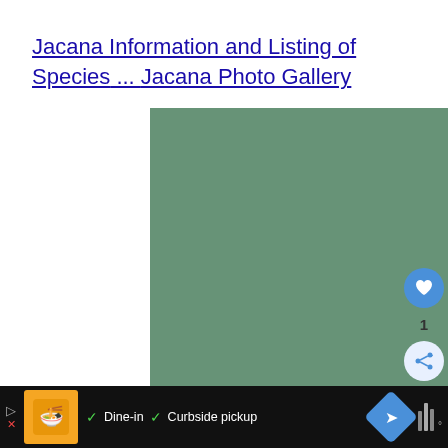Jacana Information and Listing of Species ... Jacana Photo Gallery
[Figure (photo): A Jacana bird with wings spread wide, showing cream/white and dark feathers, standing on water. The bird has a dark head with yellow beak and yellow bill shield, dark brown body, and large cream-colored wings spread upward.]
[Figure (screenshot): Bottom advertisement bar on dark background showing: a play button icon, an orange restaurant logo, checkmarks with 'Dine-in' and 'Curbside pickup' text in white, a blue diamond navigation icon, and audio waveform icon on the right.]